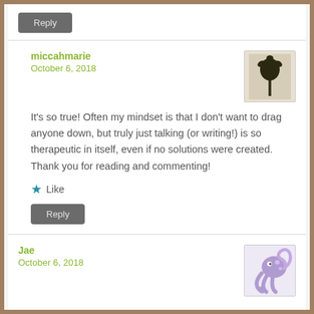Reply
miccahmarie
October 6, 2018
[Figure (photo): Small avatar image showing a dark silhouette of a flower or plant against a beige/sepia background]
It's so true! Often my mindset is that I don't want to drag anyone down, but truly just talking (or writing!) is so therapeutic in itself, even if no solutions were created. Thank you for reading and commenting!
Like
Reply
Jae
October 6, 2018
[Figure (illustration): Small avatar image showing a purple/lavender stylized octopus or sea creature illustration]